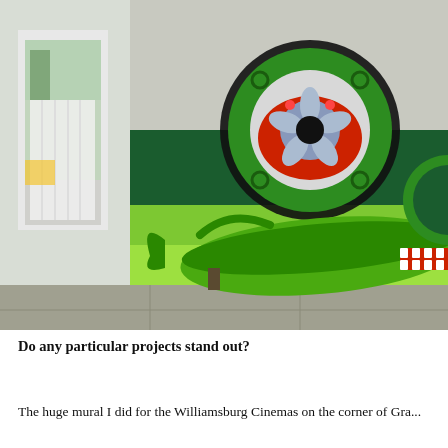[Figure (photo): Photograph of a street mural on the side of a building. On the left is a storefront window with white curtains and a glass door reflecting trees and a yellow taxi cab. On the right is a colorful mural featuring a large stylized green fish with teeth showing, and above it a circular mandala-like design with red, blue, and green colors against a dark green horizontal band. The wall is textured stucco. The sidewalk is visible at the bottom.]
Do any particular projects stand out?
The huge mural I did for the Williamsburg Cinemas on the corner of Gra...